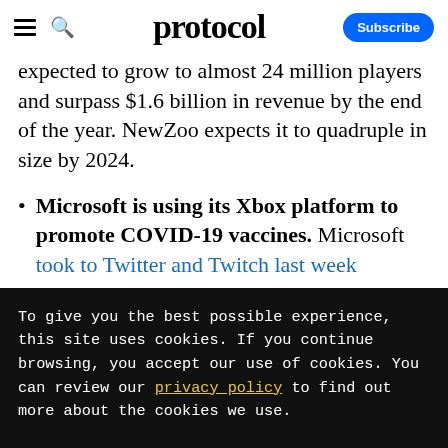protocol — Subscribe
expected to grow to almost 24 million players and surpass $1.6 billion in revenue by the end of the year. NewZoo expects it to quadruple in size by 2024.
Microsoft is using its Xbox platform to promote COVID-19 vaccines. Microsoft took to Twitter and Twitch last week
To give you the best possible experience, this site uses cookies. If you continue browsing, you accept our use of cookies. You can review our privacy policy to find out more about the cookies we use.
Accept